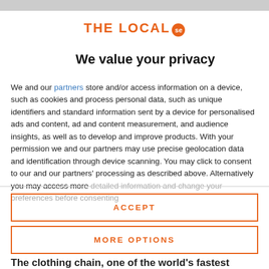[Figure (logo): THE LOCAL se logo with orange text and orange circular badge]
We value your privacy
We and our partners store and/or access information on a device, such as cookies and process personal data, such as unique identifiers and standard information sent by a device for personalised ads and content, ad and content measurement, and audience insights, as well as to develop and improve products. With your permission we and our partners may use precise geolocation data and identification through device scanning. You may click to consent to our and our partners' processing as described above. Alternatively you may access more detailed information and change your preferences before consenting
ACCEPT
MORE OPTIONS
The clothing chain, one of the world's fastest